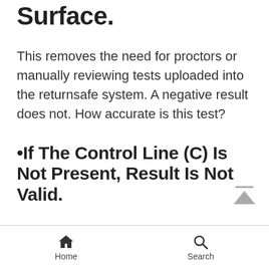Surface.
This removes the need for proctors or manually reviewing tests uploaded into the returnsafe system. A negative result does not. How accurate is this test?
•If The Control Line (C) Is Not Present, Result Is Not Valid.
Home  Search